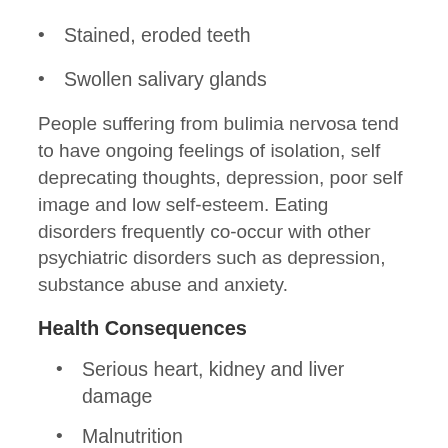Stained, eroded teeth
Swollen salivary glands
People suffering from bulimia nervosa tend to have ongoing feelings of isolation, self deprecating thoughts, depression, poor self image and low self-esteem. Eating disorders frequently co-occur with other psychiatric disorders such as depression, substance abuse and anxiety.
Health Consequences
Serious heart, kidney and liver damage
Malnutrition
Dehydration
Ruptured stomach
Tooth/gum erosion